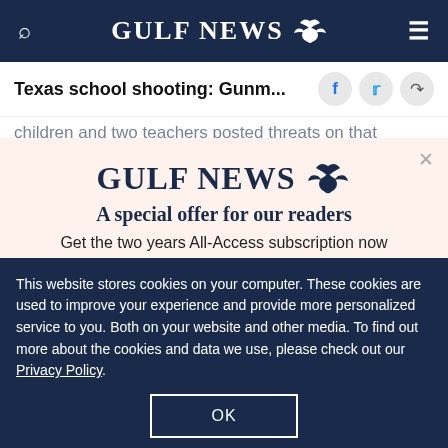GULF NEWS
Texas school shooting: Gunm...
children and two teachers posted threats on that he was going to shoot up an elementary school
[Figure (screenshot): Gulf News subscription modal offering 'A special offer for our readers' - Get the two years All-Access subscription now]
This website stores cookies on your computer. These cookies are used to improve your experience and provide more personalized service to you. Both on your website and other media. To find out more about the cookies and data we use, please check out our Privacy Policy.